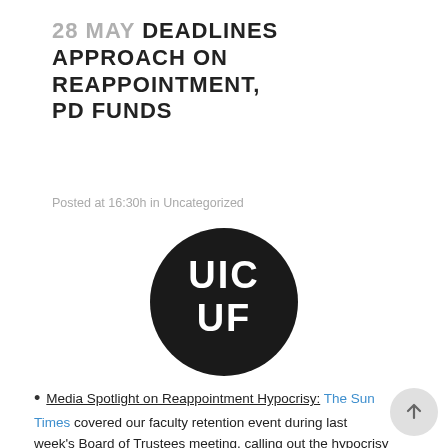28 MAY DEADLINES APPROACH ON REAPPOINTMENT, PD FUNDS
Posted at 16:30h in Uncategorized
[Figure (logo): UIC UF logo — black circle with white bold letters UIC on top and UF below]
Media Spotlight on Reappointment Hypocrisy: The Sun Times covered our faculty retention event during last week's Board of Trustees meeting, calling out the hypocrisy of UIC celebrating